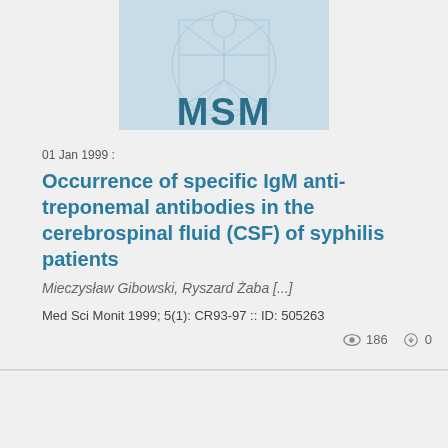[Figure (logo): Medical Science Monitor journal cover showing MSM logo with Vitruvian man illustration, top portion cropped]
01 Jan 1999 :
Occurrence of specific IgM anti-treponemal antibodies in the cerebrospinal fluid (CSF) of syphilis patients
Mieczysław Gibowski, Ryszard Żaba [...]
Med Sci Monit 1999; 5(1): CR93-97 :: ID: 505263
186  0
[Figure (logo): Medical Science Monitor journal cover showing MSM logo with Vitruvian man illustration, bottom portion]